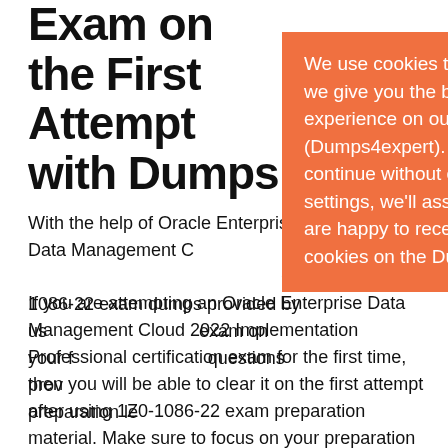Exam on the First Attempt with Dumps...
With the help of Oracle Enterprise Data Management Cloud Implementation Professional 1Z0-1086-22 exam dumps provided by us, you can clear the exam on your first attempt. The questions provided enhance your preparation level.
[Figure (screenshot): Cookie consent popup overlay with orange background. Contains close button (x) and text: 'We use cookies to ensure that we give you the best experience on our website (Dumps4expert). If you continue without changing your settings, we'll assume that you are happy to receive all cookies on the Dumps4expert.']
If you are attempting an Oracle Enterprise Data Management Cloud 2022 Implementation Professional certification exam for the first time, then you will be able to clear it on the first attempt after using 1Z0-1086-22 exam preparation material. Make sure to focus on your preparation and go